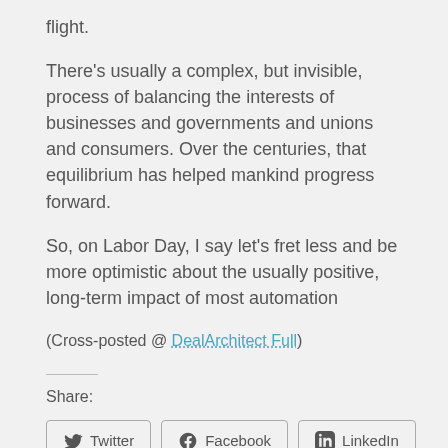flight.
There’s usually a complex, but invisible, process of balancing the interests of businesses and governments and unions and consumers. Over the centuries, that equilibrium has helped mankind progress forward.
So, on Labor Day, I say let’s fret less and be more optimistic about the usually positive, long-term impact of most automation
(Cross-posted @ DealArchitect Full)
Share:
[Figure (other): Social share buttons for Twitter, Facebook, and LinkedIn]